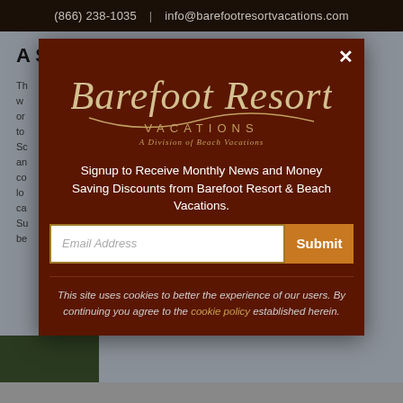(866) 238-1035   |   info@barefootresortvacations.com
A Summer Winding Down
Th... s w... s or... s to... d Sc... d an... o co... s lo... t ca... s Su... s be...
[Figure (logo): Barefoot Resort Vacations logo — A Division of Beach Vacations — on dark brown background with close button (X)]
Signup to Receive Monthly News and Money Saving Discounts from Barefoot Resort & Beach Vacations.
Email Address
Submit
This site uses cookies to better the experience of our users. By continuing you agree to the cookie policy established herein.